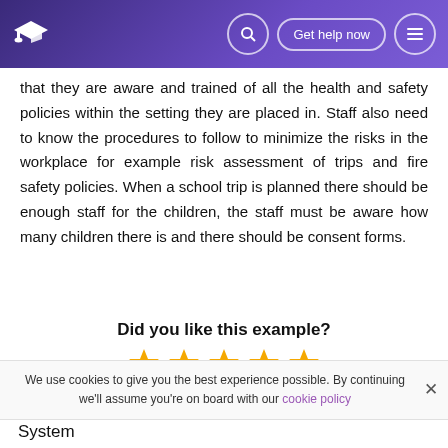Get help now
that they are aware and trained of all the health and safety policies within the setting they are placed in. Staff also need to know the procedures to follow to minimize the risks in the workplace for example risk assessment of trips and fire safety policies. When a school trip is planned there should be enough staff for the children, the staff must be aware how many children there is and there should be consent forms.
Did you like this example?
[Figure (other): Five gold star rating icons]
We use cookies to give you the best experience possible. By continuing we'll assume you're on board with our cookie policy
System